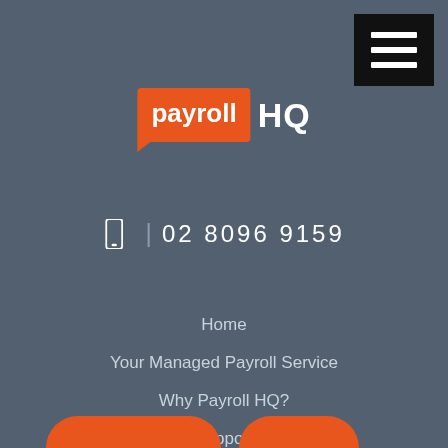[Figure (logo): Payroll HQ logo with orange speech-bubble background for 'payroll' and white 'HQ' text]
02 8096 9159
Home
Your Managed Payroll Service
Why Payroll HQ?
Support
About Us
Resources